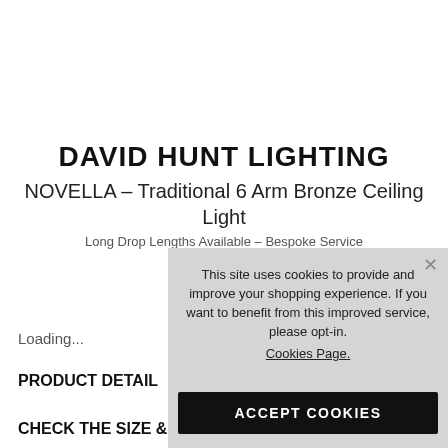DAVID HUNT LIGHTING
NOVELLA - Traditional 6 Arm Bronze Ceiling Light
Long Drop Lengths Available - Bespoke Service
Loading...
PRODUCT DETAIL
CHECK THE SIZE &
This site uses cookies to provide and improve your shopping experience. If you want to benefit from this improved service, please opt-in.
Cookies Page.
I opt-in to a better browsing experience
ACCEPT COOKIES